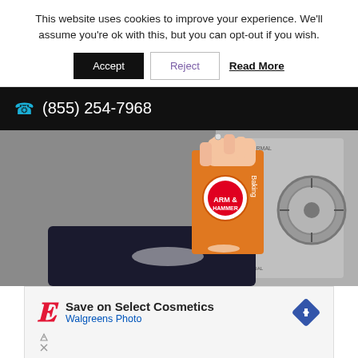This website uses cookies to improve your experience. We'll assume you're ok with this, but you can opt-out if you wish.
Accept  Reject  Read More
(855) 254-7968
[Figure (photo): A hand holding an Arm & Hammer baking soda box, pouring powder onto a dark blue garment placed near a washing machine.]
[Figure (infographic): Advertisement: Walgreens Photo - Save on Select Cosmetics. Red cursive W logo, blue arrow icon, and small ad attribution icons.]